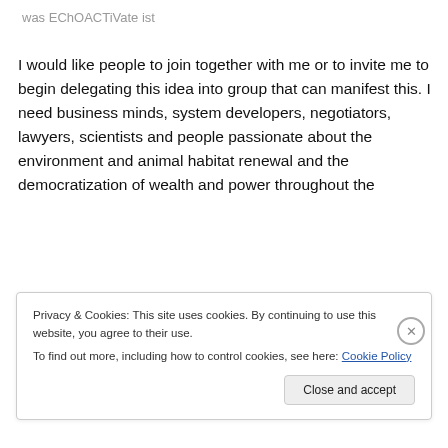was EChOACTiVate ist
I would like people to join together with me or to invite me to begin delegating this idea into group that can manifest this. I need business minds, system developers, negotiators, lawyers, scientists and people passionate about the environment and animal habitat renewal and the democratization of wealth and power throughout the
Privacy & Cookies: This site uses cookies. By continuing to use this website, you agree to their use.
To find out more, including how to control cookies, see here: Cookie Policy
Close and accept